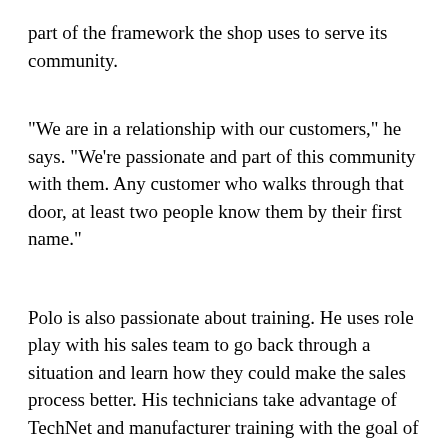part of the framework the shop uses to serve its community.
“We are in a relationship with our customers,” he says. “We’re passionate and part of this community with them. Any customer who walks through that door, at least two people know them by their first name.”
Polo is also passionate about training. He uses role play with his sales team to go back through a situation and learn how they could make the sales process better. His technicians take advantage of TechNet and manufacturer training with the goal of completing one hour of training per week.
In the last two years, Polo says he and his team have benefitted from being part of a larger team: The Point S network.